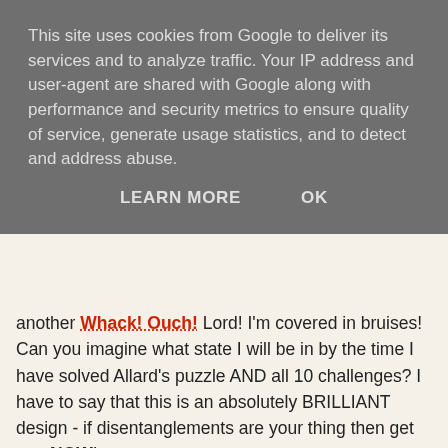This site uses cookies from Google to deliver its services and to analyze traffic. Your IP address and user-agent are shared with Google along with performance and security metrics to ensure quality of service, generate usage statistics, and to detect and address abuse.
LEARN MORE   OK
another Whack! Ouch! Lord! I'm covered in bruises! Can you imagine what state I will be in by the time I have solved Allard's puzzle AND all 10 challenges? I have to say that this is an absolutely BRILLIANT design - if disentanglements are your thing then get one NOW!
Kevin at 5:00 pm    3 comments:
Share
Sunday, 6 September 2015
Exchange puzzles cause a LOT of Whack!